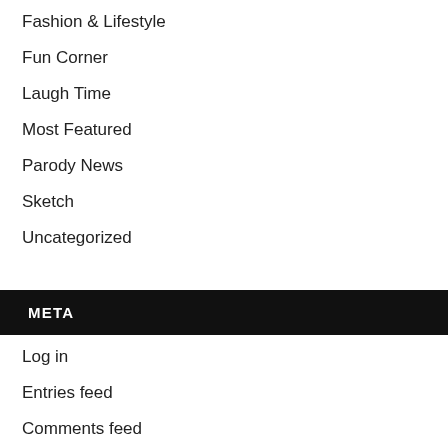Fashion & Lifestyle
Fun Corner
Laugh Time
Most Featured
Parody News
Sketch
Uncategorized
META
Log in
Entries feed
Comments feed
WordPress.org